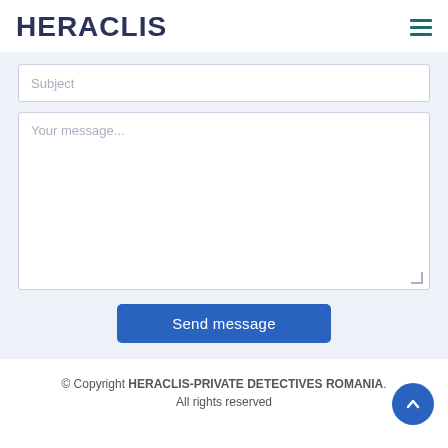HERACLIS
Subject
Your message...
Send message
© Copyright HERACLIS-PRIVATE DETECTIVES ROMANIA. All rights reserved